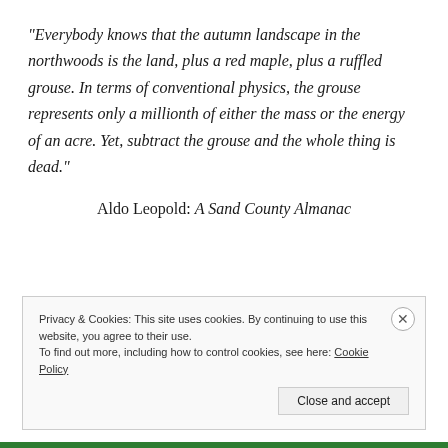“Everybody knows that the autumn landscape in the northwoods is the land, plus a red maple, plus a ruffled grouse. In terms of conventional physics, the grouse represents only a millionth of either the mass or the energy of an acre. Yet, subtract the grouse and the whole thing is dead.”
Aldo Leopold:  A Sand County Almanac
Privacy & Cookies: This site uses cookies. By continuing to use this website, you agree to their use.
To find out more, including how to control cookies, see here: Cookie Policy